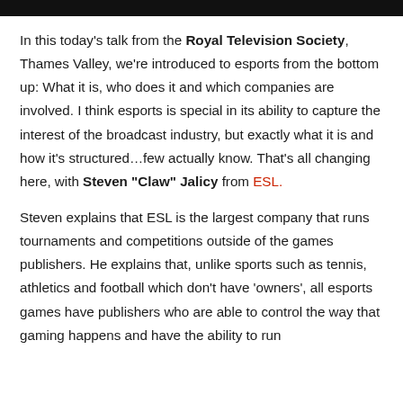In this today's talk from the Royal Television Society, Thames Valley, we're introduced to esports from the bottom up: What it is, who does it and which companies are involved. I think esports is special in its ability to capture the interest of the broadcast industry, but exactly what it is and how it's structured...few actually know. That's all changing here, with Steven "Claw" Jalicy from ESL.
Steven explains that ESL is the largest company that runs tournaments and competitions outside of the games publishers. He explains that, unlike sports such as tennis, athletics and football which don't have 'owners', all esports games have publishers who are able to control the way that gaming happens and have the ability to run